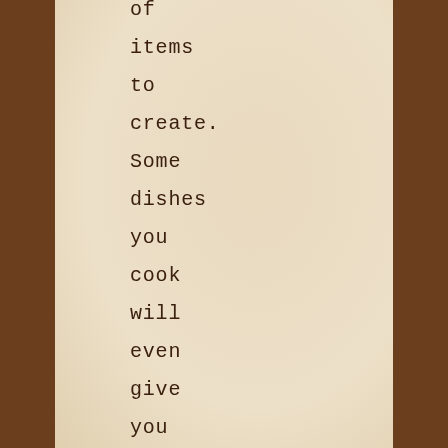of items to create. Some dishes you cook will even give you temporary boosts to skills,